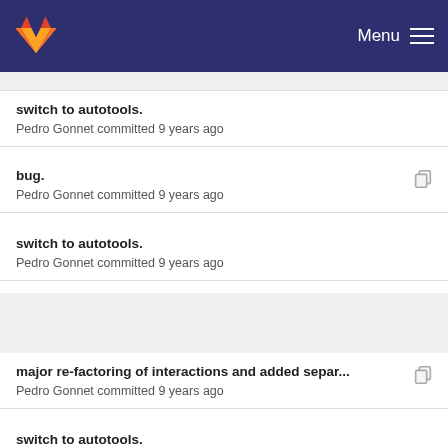[Figure (logo): GitLab fox logo in orange/red on dark navy navbar with Menu hamburger icon on the right]
switch to autotools.
Pedro Gonnet committed 9 years ago
bug.
Pedro Gonnet committed 9 years ago
switch to autotools.
Pedro Gonnet committed 9 years ago
major re-factoring of interactions and added separ...
Pedro Gonnet committed 9 years ago
switch to autotools.
Pedro Gonnet committed 9 years ago